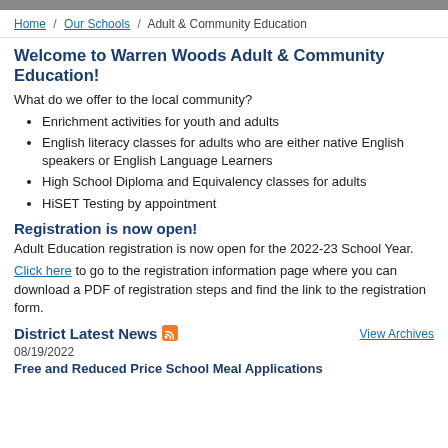Home / Our Schools / Adult & Community Education
Welcome to Warren Woods Adult & Community Education!
What do we offer to the local community?
Enrichment activities for youth and adults
English literacy classes for adults who are either native English speakers or English Language Learners
High School Diploma and Equivalency classes for adults
HiSET Testing by appointment
Registration is now open!
Adult Education registration is now open for the 2022-23 School Year.
Click here to go to the registration information page where you can download a PDF of registration steps and find the link to the registration form.
District Latest News
View Archives
08/19/2022
Free and Reduced Price School Meal Applications